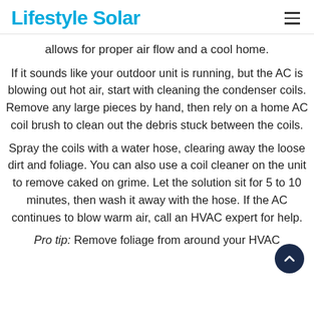Lifestyle Solar
allows for proper air flow and a cool home.
If it sounds like your outdoor unit is running, but the AC is blowing out hot air, start with cleaning the condenser coils. Remove any large pieces by hand, then rely on a home AC coil brush to clean out the debris stuck between the coils.
Spray the coils with a water hose, clearing away the loose dirt and foliage. You can also use a coil cleaner on the unit to remove caked on grime. Let the solution sit for 5 to 10 minutes, then wash it away with the hose. If the AC continues to blow warm air, call an HVAC expert for help.
Pro tip: Remove foliage from around your HVAC